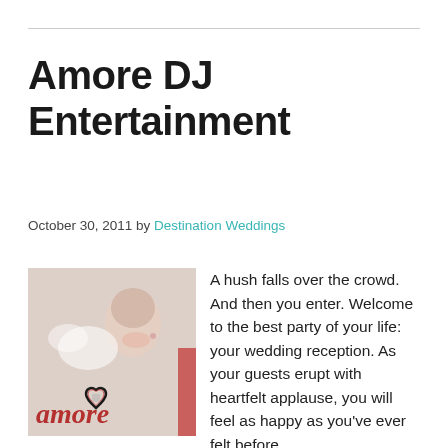Amore DJ Entertainment
October 30, 2011 by Destination Weddings
[Figure (photo): Photo of a bride smiling with a heart logo and 'amore' text overlay, representing Amore DJ Entertainment branding.]
A hush falls over the crowd. And then you enter. Welcome to the best party of your life: your wedding reception. As your guests erupt with heartfelt applause, you will feel as happy as you've ever felt before.
Whether you and your new husband are at the picturesque Stanley Hotel in Estes Park, the elegant